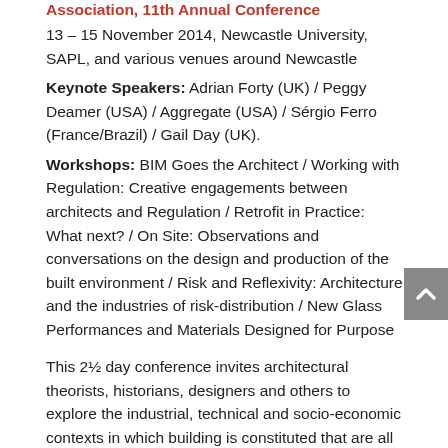Association, 11th Annual Conference
13 – 15 November 2014, Newcastle University, SAPL, and various venues around Newcastle
Keynote Speakers: Adrian Forty (UK) / Peggy Deamer (USA) / Aggregate (USA) / Sérgio Ferro (France/Brazil) / Gail Day (UK).
Workshops: BIM Goes the Architect / Working with Regulation: Creative engagements between architects and Regulation / Retrofit in Practice: What next? / On Site: Observations and conversations on the design and production of the built environment / Risk and Reflexivity: Architecture and the industries of risk-distribution / New Glass Performances and Materials Designed for Purpose
This 2½ day conference invites architectural theorists, historians, designers and others to explore the industrial, technical and socio-economic contexts in which building is constituted that are all too often sidelined within the architectural humanities. Industries of Architecture will also host a number of open-structured debate-oriented